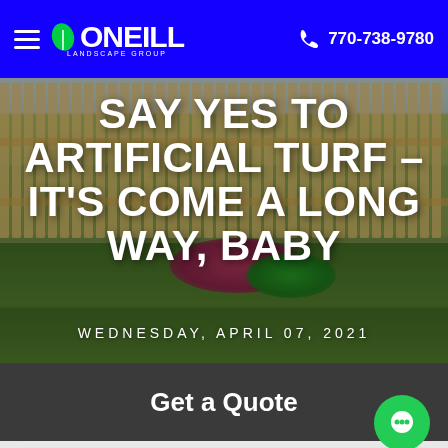O'NEILL LANDSCAPE GROUP | 770-738-9780
SAY YES TO ARTIFICIAL TURF - IT'S COME A LONG WAY, BABY
WEDNESDAY, APRIL 07, 2021
[Figure (photo): Background photo of a backyard with green lawn, wooden fence, and shrubs/landscaping]
Get a Quote
Name